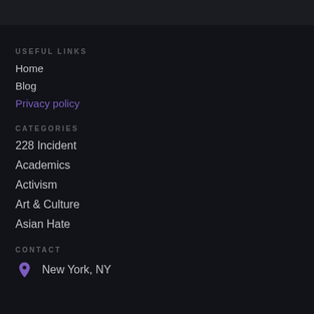USEFUL LINKS
Home
Blog
Privacy policy
CATEGORIES
228 Incident
Academics
Activism
Art & Culture
Asian Hate
CONTACT
New York, NY